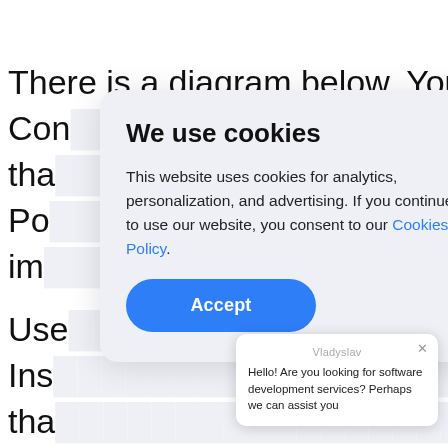There is a diagram below. You can see that the Con... tha... Po... im... Use... Ins... r tha... the... a
[Figure (screenshot): Cookie consent overlay dialog with title 'We use cookies', body text about analytics/personalization/advertising cookies, a 'Cookies Policy' link, and an 'Accept' button]
[Figure (screenshot): Chat widget in bottom right corner with agent name 'Vladyslav' and message 'Hello! Are you looking for software development services? Perhaps we can assist you']